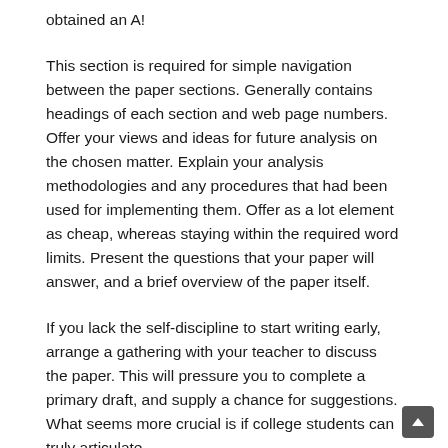obtained an A!
This section is required for simple navigation between the paper sections. Generally contains headings of each section and web page numbers. Offer your views and ideas for future analysis on the chosen matter. Explain your analysis methodologies and any procedures that had been used for implementing them. Offer as a lot element as cheap, whereas staying within the required word limits. Present the questions that your paper will answer, and a brief overview of the paper itself.
If you lack the self-discipline to start writing early, arrange a gathering with your teacher to discuss the paper. This will pressure you to complete a primary draft, and supply a chance for suggestions. What seems more crucial is if college students can truly articulate